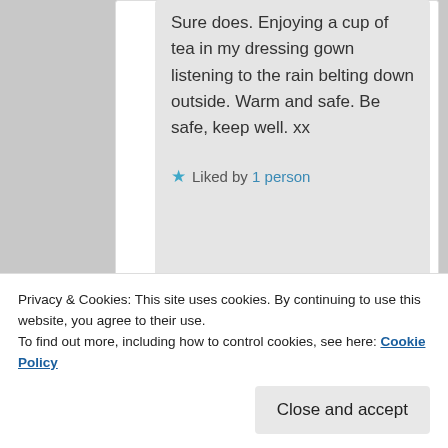Sure does. Enjoying a cup of tea in my dressing gown listening to the rain belting down outside. Warm and safe. Be safe, keep well. xx
★ Liked by 1 person
[Figure (screenshot): Dark navy advertisement banner with a teal 'Learn More' pill button on the left side]
Privacy & Cookies: This site uses cookies. By continuing to use this website, you agree to their use.
To find out more, including how to control cookies, see here: Cookie Policy
Close and accept